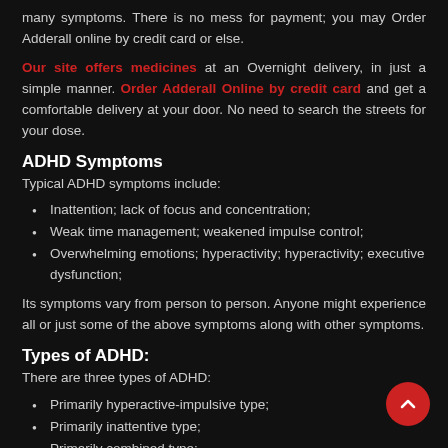many symptoms. There is no mess for payment; you may Order Adderall online by credit card or else.
Our site offers medicines at an Overnight delivery, in just a simple manner. Order Adderall Online by credit card and get a comfortable delivery at your door. No need to search the streets for your dose.
ADHD Symptoms
Typical ADHD symptoms include:
Inattention; lack of focus and concentration;
Weak time management; weakened impulse control;
Overwhelming emotions; hyperactivity; hyperactivity; executive dysfunction;
Its symptoms vary from person to person. Anyone might experience all or just some of the above symptoms along with other symptoms.
Types of ADHD:
There are three types of ADHD:
Primarily hyperactive-impulsive type;
Primarily inattentive type;
Primarily combined type;